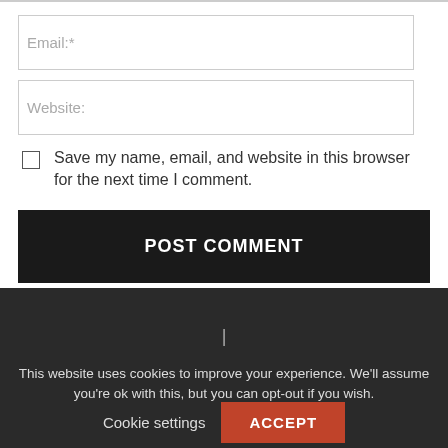Email:*
Website:
Save my name, email, and website in this browser for the next time I comment.
POST COMMENT
This website uses cookies to improve your experience. We'll assume you're ok with this, but you can opt-out if you wish.
Cookie settings
ACCEPT